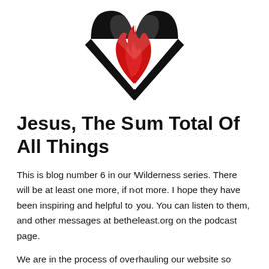[Figure (logo): A heart-shaped logo with a red flame inside and a black chevron/checkmark shape forming the lower half of the heart outline.]
Jesus, The Sum Total Of All Things
This is blog number 6 in our Wilderness series. There will be at least one more, if not more. I hope they have been inspiring and helpful to you. You can listen to them, and other messages at betheleast.org on the podcast page.
We are in the process of overhauling our website so